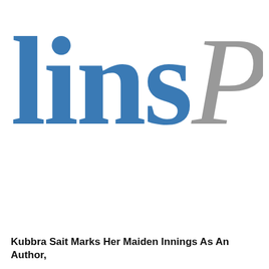[Figure (logo): Partial logo showing 'lins P' in large text — blue serif 'lins' and gray italic 'P', cropped from a larger publication logo (likely 'HarperCollins Publishers' or similar)]
Kubbra Sait Marks Her Maiden Innings As An Author,